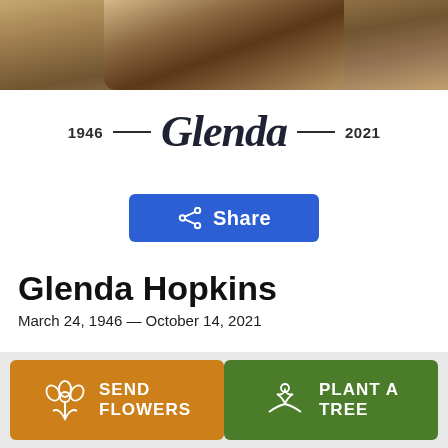[Figure (photo): Partial portrait photo of Glenda Hopkins, cropped at top]
1946 — Glenda — 2021
Share
Glenda Hopkins
March 24, 1946 — October 14, 2021
SEND FLOWERS
PLANT A TREE